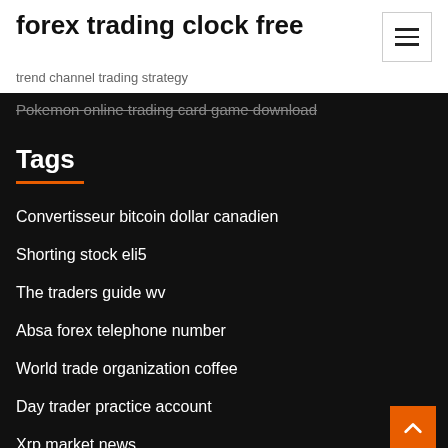forex trading clock free
trend channel trading strategy
Pokemon online trading card game download
Tags
Convertisseur bitcoin dollar canadien
Shorting stock eli5
The traders guide wv
Absa forex telephone number
World trade organization coffee
Day trader practice account
Xrp market news